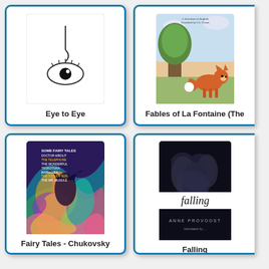[Figure (illustration): Book cover for 'Eye to Eye' showing a minimalist eye illustration on white background]
Eye to Eye
[Figure (illustration): Book cover for 'Fables of La Fontaine (The)' showing a fox near a tree in a pastoral scene]
Fables of La Fontaine (The
[Figure (illustration): Book cover for 'Fairy Tales - Chukovsky' showing colorful swirling psychedelic art with fairy tale characters]
Fairy Tales - Chukovsky
[Figure (illustration): Book cover for 'Falling' by Anne Provoost showing dark shadowy figures with the word 'falling' in italic text]
Falling